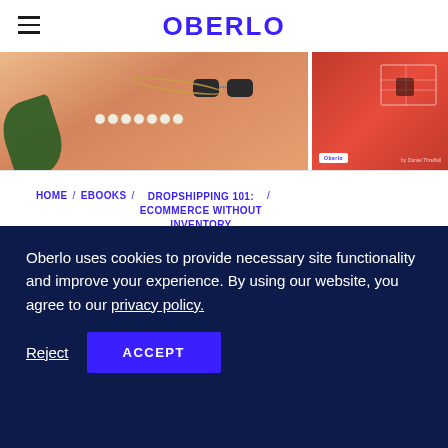OBERLO
[Figure (photo): Two images side by side: left shows jewelry and accessories (sunglasses, pearl chain, leaf) on a peach/orange background; right shows a red cover with a diagram/schematic and Oberlo branding.]
HOME / EBOOKS / DROPSHIPPING 101: ECOMMERCE WITHOUT INVENTORY /
CHOOSING THE RIGHT
Oberlo uses cookies to provide necessary site functionality and improve your experience. By using our website, you agree to our privacy policy.
Reject  ACCEPT